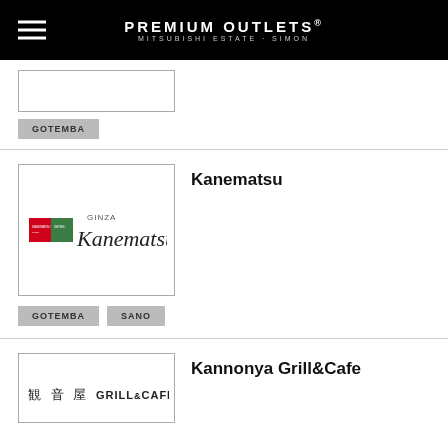PREMIUM OUTLETS® MITSUBISHI ESTATE · SIMON
[Figure (logo): Partial product card image box (top of page, cut off)]
GOTEMBA
[Figure (logo): Kanematsu GINZA Kanematsu logo with red and green squares and script text]
Kanematsu
GOTEMBA   SANO
[Figure (logo): 観音屋 GRILL&CAFE logo]
Kannonya Grill&Cafe